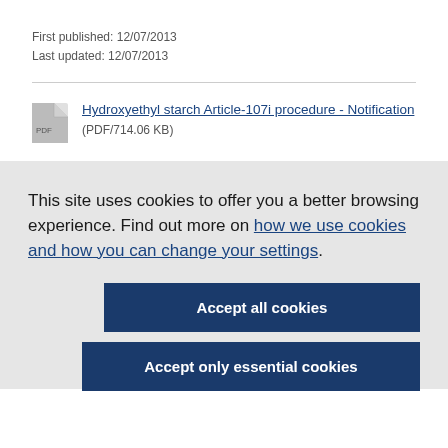First published: 12/07/2013
Last updated: 12/07/2013
Hydroxyethyl starch Article-107i procedure - Notification (PDF/714.06 KB)
This site uses cookies to offer you a better browsing experience. Find out more on how we use cookies and how you can change your settings.
Accept all cookies
Accept only essential cookies